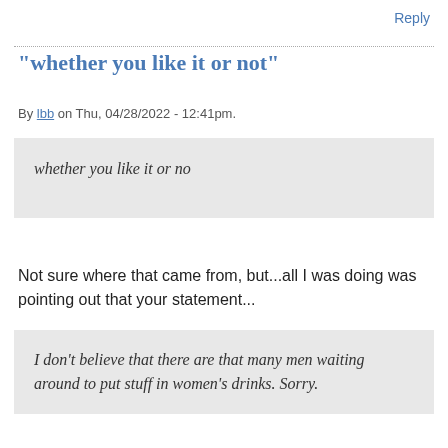Reply
"whether you like it or not"
By lbb on Thu, 04/28/2022 - 12:41pm.
whether you like it or no
Not sure where that came from, but...all I was doing was pointing out that your statement...
I don't believe that there are that many men waiting around to put stuff in women's drinks. Sorry.